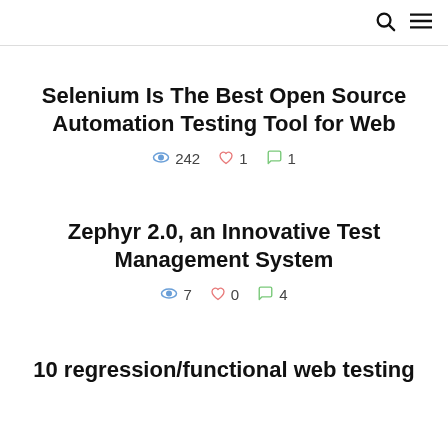🔍 ☰
Selenium Is The Best Open Source Automation Testing Tool for Web
👁 242  ♡ 1  💬 1
Zephyr 2.0, an Innovative Test Management System
👁 7  ♡ 0  💬 4
10 regression/functional web testing